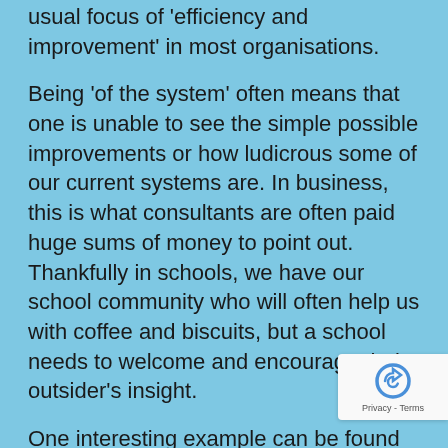usual focus of 'efficiency and improvement' in most organisations.
Being 'of the system' often means that one is unable to see the simple possible improvements or how ludicrous some of our current systems are. In business, this is what consultants are often paid huge sums of money to point out. Thankfully in schools, we have our school community who will often help us with coffee and biscuits, but a school needs to welcome and encourage their outsider's insight.
One interesting example can be found in the medical world with Atul Gawande's @atul_gawande W.H.O. work of embedding a checklist into surgical operating theatres. In studies, this simple measure to ensure that nothing was forgotten and that everything needed to hand reduced the mortality rate by many percent. Simply put, this is not that surprising...